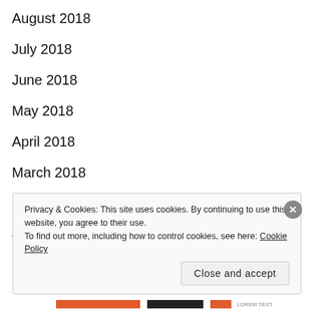August 2018
July 2018
June 2018
May 2018
April 2018
March 2018
February 2018
January 2018
Privacy & Cookies: This site uses cookies. By continuing to use this website, you agree to their use.
To find out more, including how to control cookies, see here: Cookie Policy